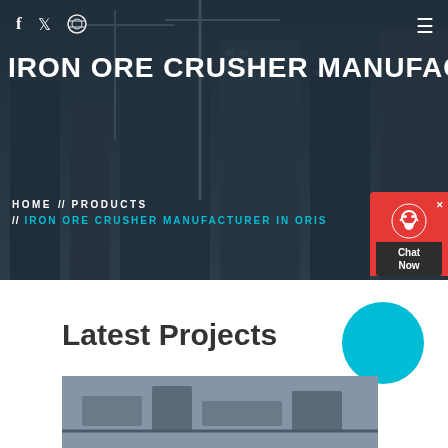[Figure (photo): Hero banner background showing construction site with cranes and tall buildings under construction, dark overlay applied]
IRON ORE CRUSHER MANUFACTURER IN ORISSA
HOME // PRODUCTS // IRON ORE CRUSHER MANUFACTURER IN ORISSA
[Figure (infographic): Red chat widget with headset icon and 'Chat Now' label in bottom right of hero]
Latest Projects
[Figure (photo): Industrial crusher machinery photograph at bottom of page]